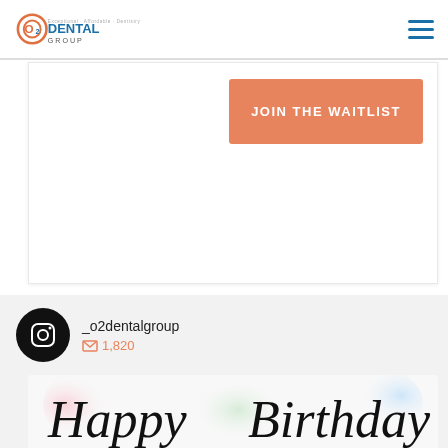O2 Dental Group
[Figure (screenshot): JOIN THE WAITLIST button on white content card area]
[Figure (other): Instagram widget showing _o2dentalgroup with 1,820 posts]
[Figure (photo): Happy Birthday script text on colorful pastel background]